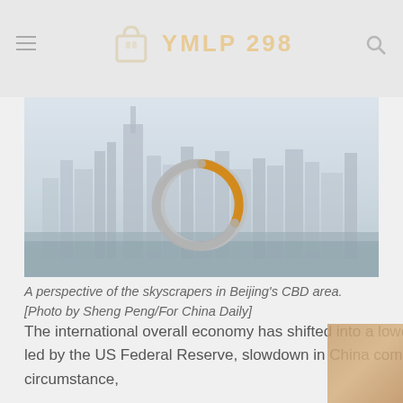YMLP 298
[Figure (photo): Skyscrapers in Beijing's CBD area with a loading spinner overlay. City skyline visible through haze, with a circular loading spinner (grey and orange) in the center of the image.]
A perspective of the skyscrapers in Beijing's CBD area. [Photo by Sheng Peng/For China Daily]
The international overall economy has shifted into a lower equipment as geopolitical tensions, tighter monetary plan, led by the US Federal Reserve, slowdown in China combine to weigh on development. In our foundation circumstance,